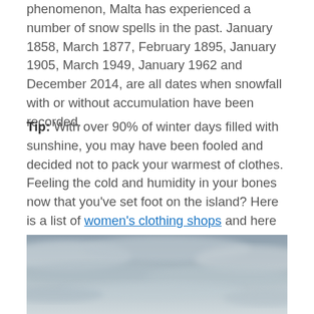phenomenon, Malta has experienced a number of snow spells in the past. January 1858, March 1877, February 1895, January 1905, March 1949, January 1962 and December 2014, are all dates when snowfall with or without accumulation have been recorded.
Tip: With over 90% of winter days filled with sunshine, you may have been fooled and decided not to pack your warmest of clothes. Feeling the cold and humidity in your bones now that you've set foot on the island? Here is a list of women's clothing shops and here is another that features stores with men's clothing.
[Figure (photo): Overcast grey cloudy sky above a horizon]